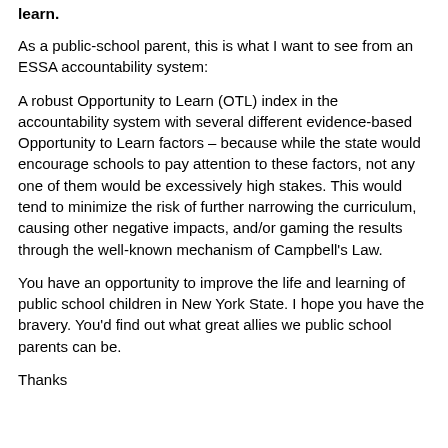learn.
As a public-school parent, this is what I want to see from an ESSA accountability system:
A robust Opportunity to Learn (OTL) index in the accountability system with several different evidence-based Opportunity to Learn factors – because while the state would encourage schools to pay attention to these factors, not any one of them would be excessively high stakes. This would tend to minimize the risk of further narrowing the curriculum, causing other negative impacts, and/or gaming the results through the well-known mechanism of Campbell's Law.
You have an opportunity to improve the life and learning of public school children in New York State. I hope you have the bravery. You'd find out what great allies we public school parents can be.
Thanks